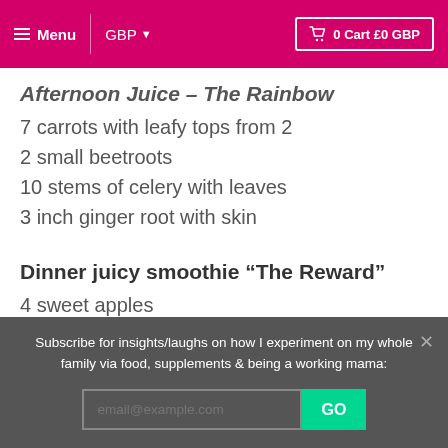≡ Menu  GBP ▼  🛒 0 Cart £0 GBP
Afternoon Juice - The Rainbow
7 carrots with leafy tops from 2
2 small beetroots
10 stems of celery with leaves
3 inch ginger root with skin
Dinner juicy smoothie "The Reward"
4 sweet apples
1/2 large pineapple, skinned
2 courgettes
1 large cucumber
100g kale leaves
Subscribe for insights/laughs on how I experiment on my whole family via food, supplements & being a working mama: